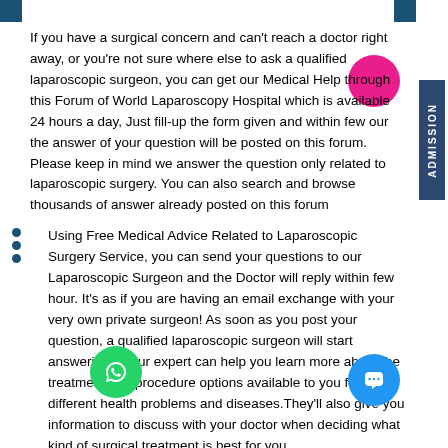If you have a surgical concern and can't reach a doctor right away, or you're not sure where else to ask a qualified laparoscopic surgeon, you can get our Medical Help through this Forum of World Laparoscopy Hospital which is available 24 hours a day, Just fill-up the form given and within few our the answer of your question will be posted on this forum. Please keep in mind we answer the question only related to laparoscopic surgery. You can also search and browse thousands of answer already posted on this forum
Using Free Medical Advice Related to Laparoscopic Surgery Service, you can send your questions to our Laparoscopic Surgeon and the Doctor will reply within few hour. It's as if you are having an email exchange with your very own private surgeon! As soon as you post your question, a qualified laparoscopic surgeon will start answering it. Our expert can help you learn more about the treatment and procedure options available to you for different health problems and diseases.They'll also give you information to discuss with your doctor when deciding what kind of surgical treatment is best for you.
The Doctor will provide you with the all the medical information you need to guide you as you choose a course of action, all from the comfort of your home or office. No more sitting in the waiting room hours just to get some basic information from your laparoscopic surgeon; no more self-diagnosis after reading pages and pages of